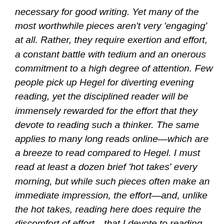necessary for good writing. Yet many of the most worthwhile pieces aren't very 'engaging' at all. Rather, they require exertion and effort, a constant battle with tedium and an onerous commitment to a high degree of attention. Few people pick up Hegel for diverting evening reading, yet the disciplined reader will be immensely rewarded for the effort that they devote to reading such a thinker. The same applies to many long reads online—which are a breeze to read compared to Hegel. I must read at least a dozen brief 'hot takes' every morning, but while such pieces often make an immediate impression, the effort—and, unlike the hot takes, reading here does require the discomfort of effort—that I devote to reading 'long-reads' is considerably more rewarding in the long term. Looking back over the last decade, it turns out that the vast majority of the plethora of hot takes and brief 'engaging'